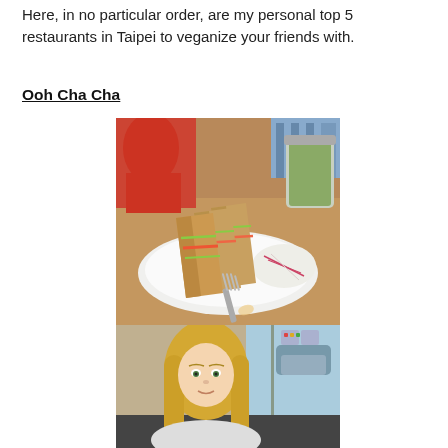Here, in no particular order, are my personal top 5 restaurants in Taipei to veganize your friends with.
Ooh Cha Cha
[Figure (photo): Photo of sandwiches on a white plate with a fork, accompanied by a jar of green juice, on a wooden table. Restaurant background with people visible.]
[Figure (photo): Photo of a blonde woman sitting in a restaurant, looking at the camera, with a window and street visible in the background.]